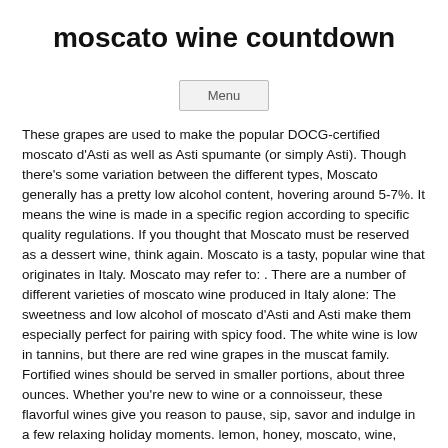moscato wine countdown
Menu
These grapes are used to make the popular DOCG-certified moscato d'Asti as well as Asti spumante (or simply Asti). Though there's some variation between the different types, Moscato generally has a pretty low alcohol content, hovering around 5-7%. It means the wine is made in a specific region according to specific quality regulations. If you thought that Moscato must be reserved as a dessert wine, think again. Moscato is a tasty, popular wine that originates in Italy. Moscato may refer to: . There are a number of different varieties of moscato wine produced in Italy alone: The sweetness and low alcohol of moscato d'Asti and Asti make them especially perfect for pairing with spicy food. The white wine is low in tannins, but there are red wine grapes in the muscat family. Fortified wines should be served in smaller portions, about three ounces. Whether you're new to wine or a connoisseur, these flavorful wines give you reason to pause, sip, savor and indulge in a few relaxing holiday moments. lemon, honey, moscato, wine, fresh raspberries, fresh thyme. The grapes thrive in sunny, dry days and cool nights and are harvested mid to late season depending on the variety and location. See more ideas about moscato wine, moscato, wines. The wine's sweetness along with the spiciness of those foods